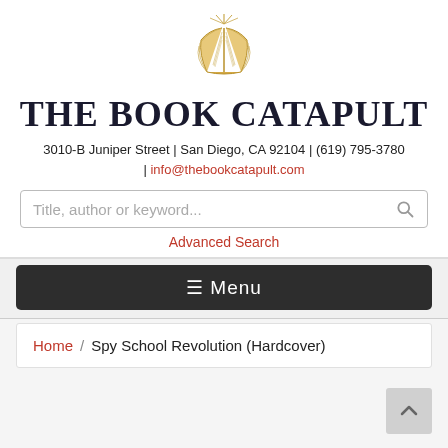[Figure (logo): Illustrated open book with light rays above it, drawn in gold/tan line art style]
THE BOOK CATAPULT
3010-B Juniper Street | San Diego, CA 92104 | (619) 795-3780 | info@thebookcatapult.com
Title, author or keyword...
Advanced Search
≡ Menu
Home / Spy School Revolution (Hardcover)